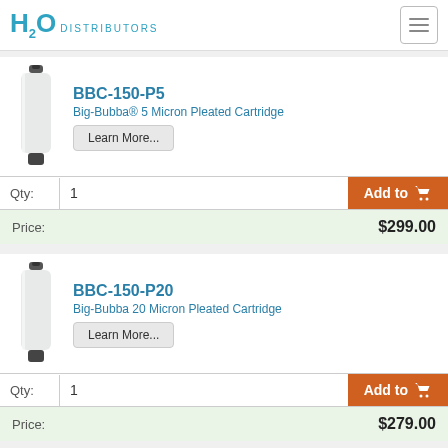H2O DISTRIBUTORS
BBC-150-P5
Big-Bubba® 5 Micron Pleated Cartridge
Learn More...
Qty: 1  Add to cart
Price: $299.00
BBC-150-P20
Big-Bubba 20 Micron Pleated Cartridge
Learn More...
Qty: 1  Add to cart
Price: $279.00